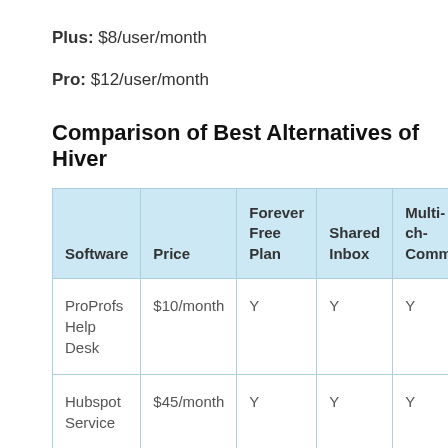Plus: $8/user/month
Pro: $12/user/month
Comparison of Best Alternatives of Hiver
| Software | Price | Forever Free Plan | Shared Inbox | Multi-channel Communication |
| --- | --- | --- | --- | --- |
| ProProfs Help Desk | $10/month | Y | Y | Y |
| Hubspot Service | $45/month | Y | Y | Y |